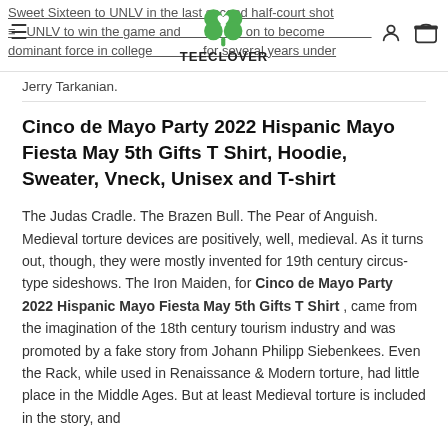TEECLOVER — Sweet Sixteen to UNLV in the last second half-court shot UNLV to win the game and go on to become a dominant force in college basketball for several years under Jerry Tarkanian.
Jerry Tarkanian.
Cinco de Mayo Party 2022 Hispanic Mayo Fiesta May 5th Gifts T Shirt, Hoodie, Sweater, Vneck, Unisex and T-shirt
The Judas Cradle. The Brazen Bull. The Pear of Anguish. Medieval torture devices are positively, well, medieval. As it turns out, though, they were mostly invented for 19th century circus-type sideshows. The Iron Maiden, for Cinco de Mayo Party 2022 Hispanic Mayo Fiesta May 5th Gifts T Shirt , came from the imagination of the 18th century tourism industry and was promoted by a fake story from Johann Philipp Siebenkees. Even the Rack, while used in Renaissance & Modern torture, had little place in the Middle Ages. But at least Medieval torture is included in the story, and